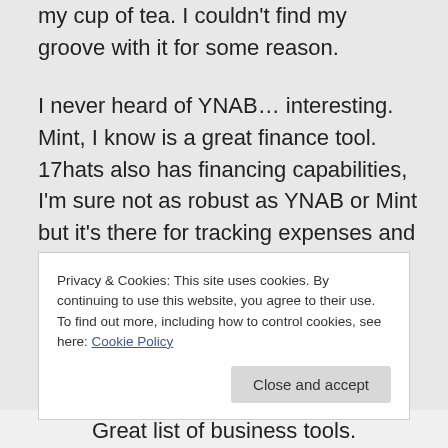my cup of tea. I couldn't find my groove with it for some reason.
I never heard of YNAB… interesting. Mint, I know is a great finance tool. 17hats also has financing capabilities, I'm sure not as robust as YNAB or Mint but it's there for tracking expenses and income.
Take care,
Lillian
Privacy & Cookies: This site uses cookies. By continuing to use this website, you agree to their use.
To find out more, including how to control cookies, see here: Cookie Policy
Great list of business tools.